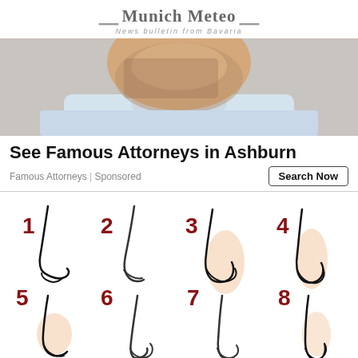Munich Meteo — News bulletin from Bavaria
[Figure (photo): Close-up photo of a man's face (lower portion) with a beard, wearing a light blue shirt, against a gray background.]
See Famous Attorneys in Ashburn
Famous Attorneys | Sponsored
[Figure (illustration): Grid of numbered nose illustrations (1-8), showing different nose shapes in line art and shaded style. Numbers 1-4 in first row, 5-8 in second row. Numbers are in dark red/maroon color.]